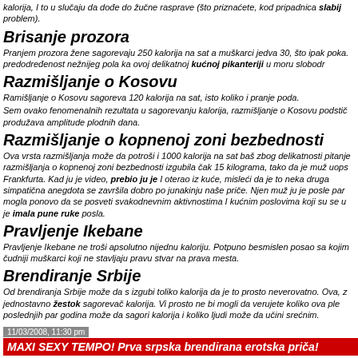kalorija, I to u slučaju da dođe do žučne rasprave (što priznaćete, kod pripadnica slabij problem).
Brisanje prozora
Pranjem prozora žene sagorevaju 250 kalorija na sat a muškarci jedva 30, što ipak poka. predodređenost nežnijeg pola ka ovoj delikatnoj kućnoj pikanteriji u moru slobodr
Razmišljanje o Kosovu
Ramišljanje o Kosovu sagoreva 120 kalorija na sat, isto koliko i pranje poda.
Sem ovako fenomenalnih rezultata u sagorevanju kalorija, razmišljanje o Kosovu podstič produžava amplitude plodnih dana.
Razmišljanje o kopnenoj zoni bezbednosti
Ova vrsta razmišljanja može da potroši i 1000 kalorija na sat baš zbog delikatnosti pitanje razmišljanja o kopnenoj zoni bezbednosti izgubila čak 15 kilograma, tako da je muž uops Frankfurta. Kad ju je video, prebio ju je I oterao iz kuće, misleći da je to neka druga simpatična anegdota se završila dobro po junakinju naše priče. Njen muž ju je posle par mogla ponovo da se posveti svakodnevnim aktivnostima I kućnim poslovima koji su se u je imala pune ruke posla.
Pravljenje Ikebane
Pravljenje Ikebane ne troši apsolutno nijednu kaloriju. Potpuno besmislen posao sa kojim čudniji muškarci koji ne stavljaju pravu stvar na prava mesta.
Brendiranje Srbije
Od brendiranja Srbije može da s izgubi toliko kalorija da je to prosto neverovatno. Ova, z jednostavno žestok sagorevač kalorija. Vi prosto ne bi mogli da verujete koliko ova ple poslednjih par godina može da sagori kalorija i koliko ljudi može da učini srećnim.
11/03/2008, 11:30 pm
MAXI SEXY TEMPO! Prva srpska brendirana erotska priča!
Ja sam bila tvoja Neskafa - uvek sam Tvoji brkovi su nadraživali kožu mog lica. začeše svoj vlažni ples u pećini naših Ti si bio feng šui majstor mog tela, znač